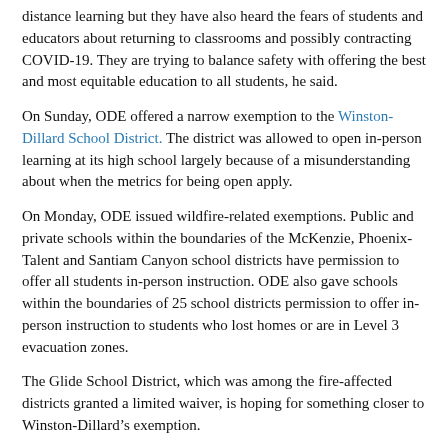distance learning but they have also heard the fears of students and educators about returning to classrooms and possibly contracting COVID-19. They are trying to balance safety with offering the best and most equitable education to all students, he said.
On Sunday, ODE offered a narrow exemption to the Winston-Dillard School District. The district was allowed to open in-person learning at its high school largely because of a misunderstanding about when the metrics for being open apply.
On Monday, ODE issued wildfire-related exemptions. Public and private schools within the boundaries of the McKenzie, Phoenix-Talent and Santiam Canyon school districts have permission to offer all students in-person instruction. ODE also gave schools within the boundaries of 25 school districts permission to offer in-person instruction to students who lost homes or are in Level 3 evacuation zones.
The Glide School District, which was among the fire-affected districts granted a limited waiver, is hoping for something closer to Winston-Dillard’s exemption.
Glide, east of Roseburg, was scheduled to open in-person learning for all students Sept. 8 when the French Creek fire shut schools down.
“We were 6 hours away from having kids in the school building,” said School Board Chair Daniel Metz.
The Archie Creek fire kept schools closed, displacing about 100 of the district’s roughly 700 students. The district scheduled Sept. 28 to begin